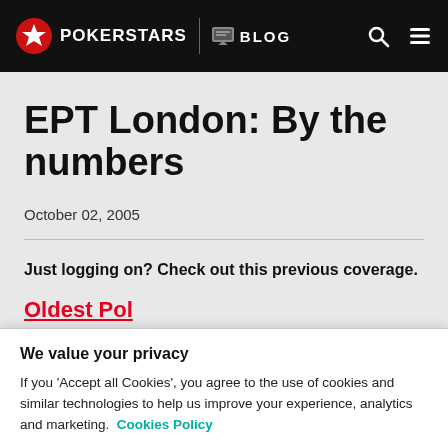POKERSTARS BLOG
EPT London: By the numbers
October 02, 2005
Just logging on? Check out this previous coverage.
We value your privacy
If you 'Accept all Cookies', you agree to the use of cookies and similar technologies to help us improve your experience, analytics and marketing. Cookies Policy